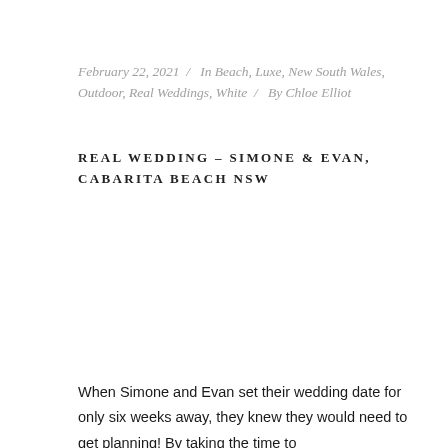February 22, 2021 / In Beach, Luxe, New South Wales, Outdoor, Real Weddings, White / By Chloe Elliot
REAL WEDDING – SIMONE & EVAN, CABARITA BEACH NSW
When Simone and Evan set their wedding date for only six weeks away, they knew they would need to get planning! By taking the time to